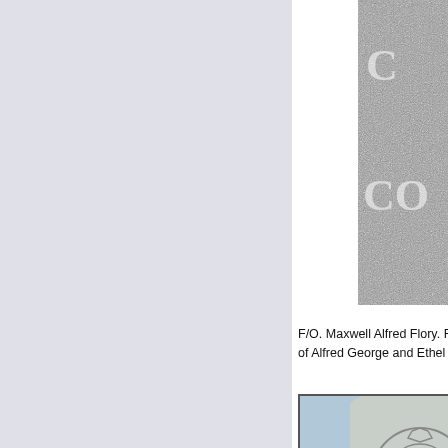[Figure (photo): Top-right corner: grayscale stone/memorial texture with partial letters C and CO visible]
F/O. Maxwell Alfred Flory. Runnymede Memorial. Son of Alfred George and Ethel Rosanna Flory, of Lak...
Fl/Sgt. Robert Henry Royes. Rheinberg War Cemetery. Son of Bathurst Hougham Royes and Lilian Marie... inscription reads: "Beloved Only Son Of Lilian Ar...
[Figure (photo): Gravestone photo showing RAF roundel emblem with wings, inscribed '1392016 SERGEANT R. DUFF']
Sgt. R... Abra... Walsa...
Left: s...
Fl/Sgt... November... Alma... Fearle...